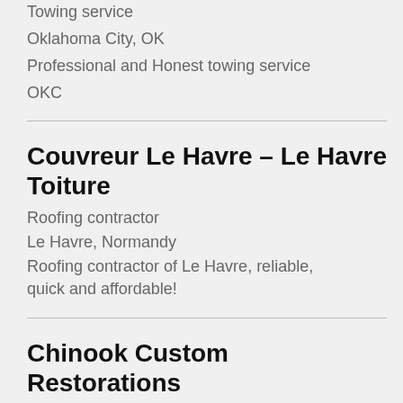Towing service
Oklahoma City, OK
Professional and Honest towing service OKC
Couvreur Le Havre – Le Havre Toiture
Roofing contractor
Le Havre, Normandy
Roofing contractor of Le Havre, reliable, quick and affordable!
Chinook Custom Restorations
Roofing contractor